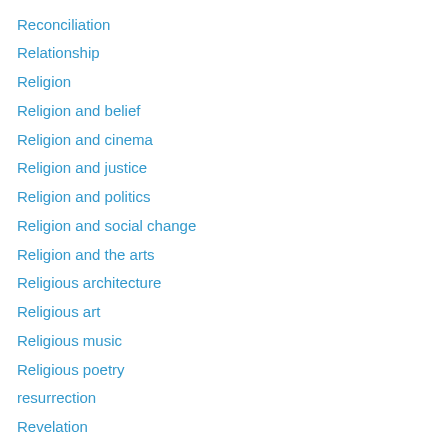Reconciliation
Relationship
Religion
Religion and belief
Religion and cinema
Religion and justice
Religion and politics
Religion and social change
Religion and the arts
Religious architecture
Religious art
Religious music
Religious poetry
resurrection
Revelation
Ritual
Ritual and celebration
Running
Sacraments
Saints